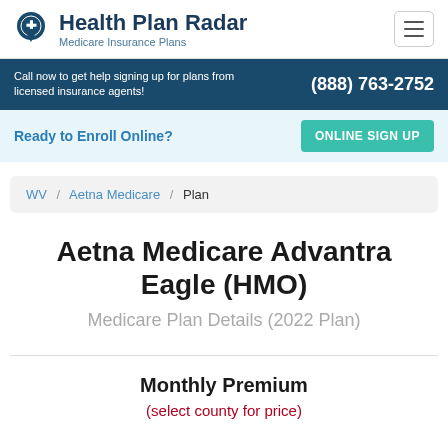Health Plan Radar — Medicare Insurance Plans
Call now to get help signing up for plans from licensed insurance agents! (888) 763-2752
Ready to Enroll Online? ONLINE SIGN UP
WV / Aetna Medicare / Plan
Aetna Medicare Advantra Eagle (HMO)
Medicare Plan Details (2022 Plan)
Monthly Premium
(select county for price)